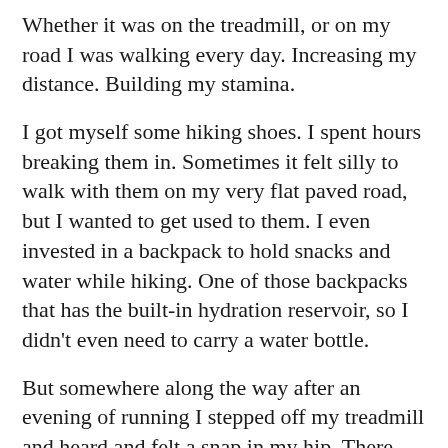Whether it was on the treadmill, or on my road I was walking every day. Increasing my distance. Building my stamina.
I got myself some hiking shoes. I spent hours breaking them in. Sometimes it felt silly to walk with them on my very flat paved road, but I wanted to get used to them. I even invested in a backpack to hold snacks and water while hiking. One of those backpacks that has the built-in hydration reservoir, so I didn't even need to carry a water bottle.
But somewhere along the way after an evening of running I stepped off my treadmill and heard and felt a snap in my hip. There was pretty much instant pain. I could barely walk and going up and down stairs was next to impossible.